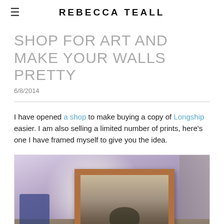REBECCA TEALL
SHOP FOR ART AND MAKE YOUR WALLS PRETTY
6/8/2014
I have opened a shop to make buying a copy of Longship easier.  I am also selling a limited number of prints, here's one I have framed myself to give you the idea.
[Figure (photo): A framed print displayed on a surface, showing a bird or figure in a natural landscape. The photo has a blue-purple ambient light with a wooden frame. Blue decorative item visible on the left.]